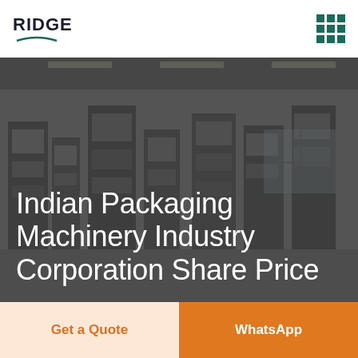RIDGE
[Figure (photo): Industrial packaging machinery factory interior with multiple machines, overhead lighting, and equipment. Dark overlay on background image.]
Indian Packaging Machinery Industry Corporation Share Price
Get a Quote
WhatsApp